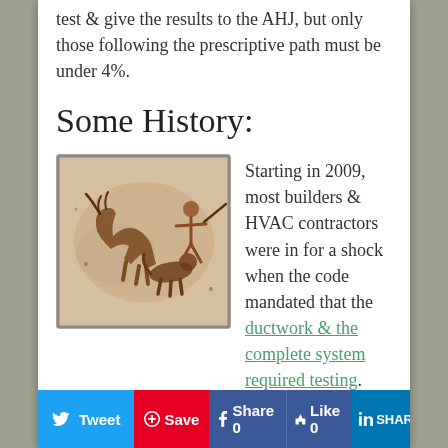test & give the results to the AHJ, but only those following the prescriptive path must be under 4%.
Some History:
[Figure (illustration): Cave painting style illustration showing prehistoric animal figures on a beige/tan background, framed with a dark border.]
Starting in 2009, most builders & HVAC contractors were in for a shock when the code mandated that the ductwork & the complete system required testing. Quite honestly they had it right in the 2009 cycle when they had a tiered system based on when you were testing. While many of us expected things to tighten up some in the 2012 version, I got to say I wasn't expecting them to flat out go – everything must be at 4% (3% without the Air
Tweet | Save | Share 0 | Like 0 | SHARE | share